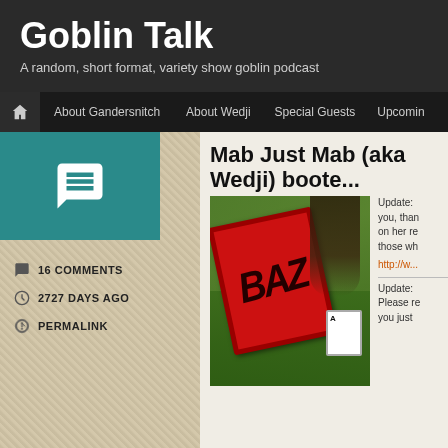Goblin Talk
A random, short format, variety show goblin podcast
About Gandersnitch  About Wedji  Special Guests  Upcoming
Mab Just Mab (aka Wedji) boote...
[Figure (photo): A person in green goblin costume wearing dreadlocks and holding a playing card, with a large red sign with stylized text in front of their face, outdoors with green trees in background.]
Update: ... you, thank ... on her re... those wh... http://w... Update: ... Please re... you just...
16 COMMENTS
2727 DAYS AGO
PERMALINK